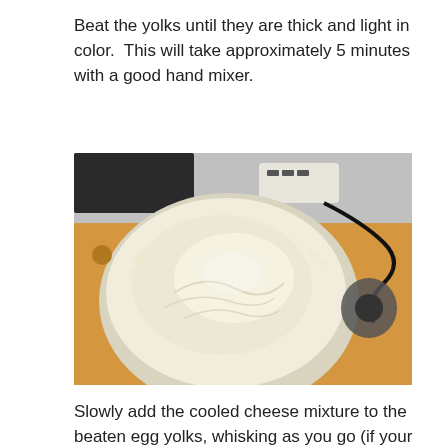Beat the yolks until they are thick and light in color. This will take approximately 5 minutes with a good hand mixer.
[Figure (photo): A glass bowl filled with thick, pale yellow beaten egg yolks sitting on a wooden cutting board, with a hand mixer visible in the background along with its cord and a timer device.]
Slowly add the cooled cheese mixture to the beaten egg yolks, whisking as you go (if your cheese mixture is too hot you will get scrambled yolks instead of soufflé base)